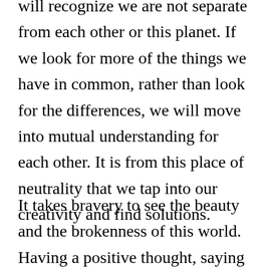will recognize we are not separate from each other or this planet. If we look for more of the things we have in common, rather than look for the differences, we will move into mutual understanding for each other. It is from this place of neutrality that we tap into our creativity and find solutions.
It takes bravery to see the beauty and the brokenness of this world. Having a positive thought, saying a kind word, and being actively engaged citizens can impact our country and